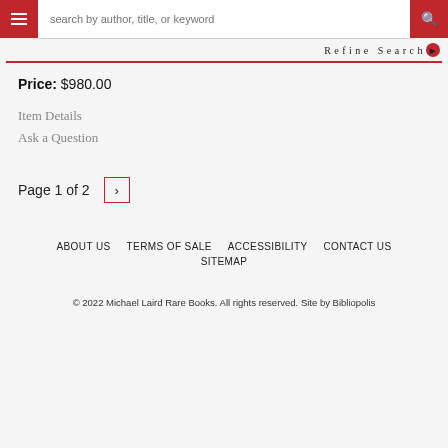search by author, title, or keyword
Refine Search
Price: $980.00
Item Details
Ask a Question
Page 1 of 2
ABOUT US   TERMS OF SALE   ACCESSIBILITY   CONTACT US   SITEMAP
© 2022 Michael Laird Rare Books. All rights reserved. Site by Bibliopolis